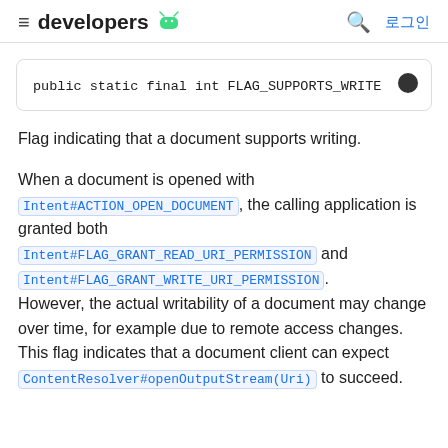developers
public static final int FLAG_SUPPORTS_WRITE
Flag indicating that a document supports writing.
When a document is opened with Intent#ACTION_OPEN_DOCUMENT, the calling application is granted both Intent#FLAG_GRANT_READ_URI_PERMISSION and Intent#FLAG_GRANT_WRITE_URI_PERMISSION. However, the actual writability of a document may change over time, for example due to remote access changes. This flag indicates that a document client can expect ContentResolver#openOutputStream(Uri) to succeed.